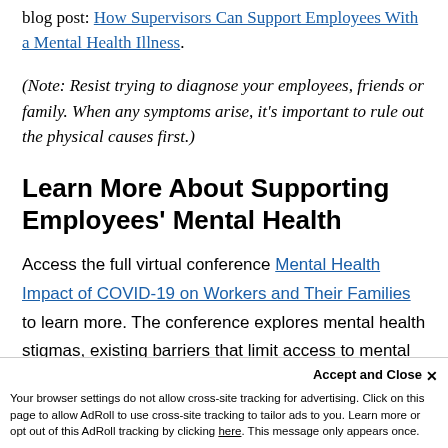blog post: How Supervisors Can Support Employees With a Mental Health Illness.
(Note: Resist trying to diagnose your employees, friends or family. When any symptoms arise, it's important to rule out the physical causes first.)
Learn More About Supporting Employees' Mental Health
Access the full virtual conference Mental Health Impact of COVID-19 on Workers and Their Families to learn more. The conference explores mental health stigmas, existing barriers that limit access to mental health care, the stress on employees who are mental health caregivers and how processing grief has changed during the COVID-19 pandemic. Learn how to evaluate employee needs and ensure your benefits are designed to provide ade…
Accept and Close ×
Your browser settings do not allow cross-site tracking for advertising. Click on this page to allow AdRoll to use cross-site tracking to tailor ads to you. Learn more or opt out of this AdRoll tracking by clicking here. This message only appears once.